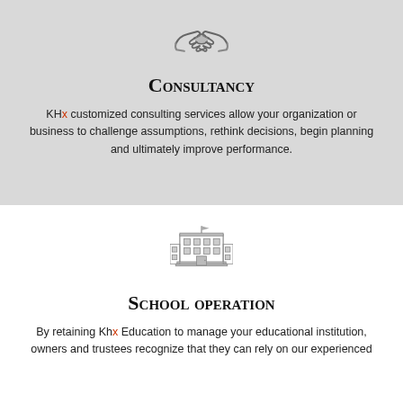[Figure (illustration): Handshake icon (two hands clasping), grey tones, centered at top of grey section]
Consultancy
KHx customized consulting services allow your organization or business to challenge assumptions, rethink decisions, begin planning and ultimately improve performance.
[Figure (illustration): School building icon, line drawing of a multi-storey school with flag on top, centered]
School operation
By retaining Khx Education to manage your educational institution, owners and trustees recognize that they can rely on our experienced